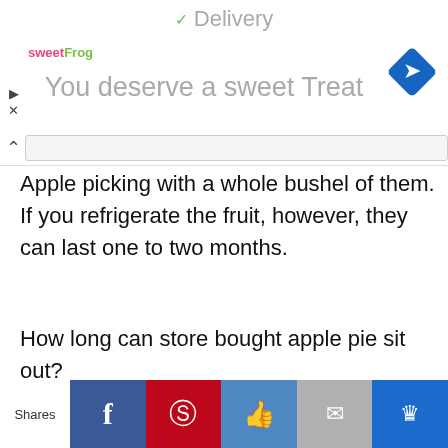Delivery
[Figure (screenshot): SweetFrog advertisement banner: 'You deserve a sweet Treat' with blue diamond navigation icon and play/close controls on left]
Apple picking with a whole bushel of them. If you refrigerate the fruit, however, they can last one to two months.
How long can store bought apple pie sit out?
You can keep baked apple pies at room temperature for up to two days. If the pie has been sliced, cover loosely with foil or plastic
Shares [Facebook] [Pinterest] [Like] [Mail] [Crown]